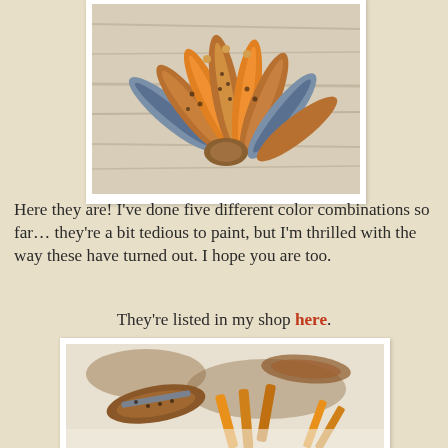[Figure (photo): Close-up of hand-painted feather earrings fanned out on a whitewashed wood surface, showing orange, blue, and brown color combinations with beaded details]
Here they are! I've done five different color combinations so far… they're a bit tedious to paint, but I'm thrilled with the way these have turned out. I hope you are too.
They're listed in my shop here.
[Figure (photo): Close-up macro photo of painted feather earrings lying on a white surface, showing orange, blue, and brown painted details]